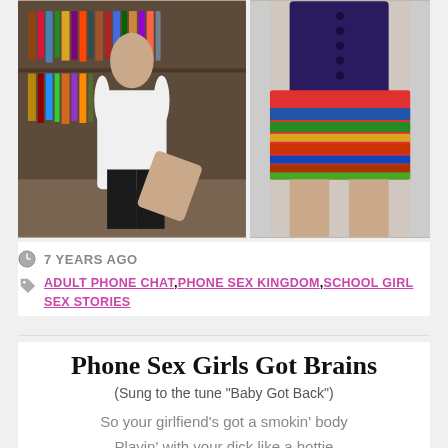[Figure (photo): Two photos side by side: left shows a woman in a library wearing glasses and white shirt with black skirt; right shows a woman wearing a colorful crayon-print skirt with dark top]
7 YEARS AGO
ADULT PHONE CHAT, PHONE SEX KINGDOM, SCHOOL GIRL SEX STORIES
Phone Sex Girls Got Brains
(Sung to the tune "Baby Got Back")
So your girlfiend's got a smokin' body
Playin' with your dick like a hottie